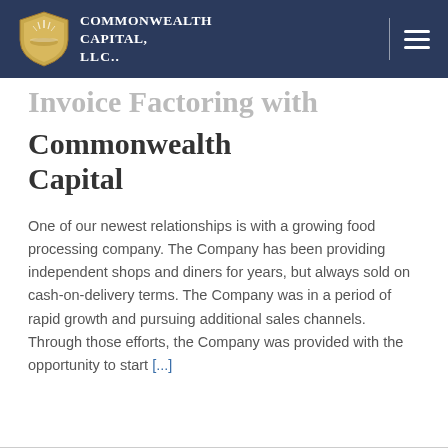Commonwealth Capital, LLC.
Invoice Factoring with Commonwealth Capital
One of our newest relationships is with a growing food processing company. The Company has been providing independent shops and diners for years, but always sold on cash-on-delivery terms. The Company was in a period of rapid growth and pursuing additional sales channels. Through those efforts, the Company was provided with the opportunity to start [...]